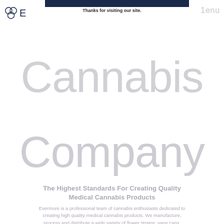E  Thanks for visiting our site.  Menu
Cannabis Company
The Highest Standards For Creating Quality Medical Cannabis Products
Evermore is a professional team of cannabis enthusiasts dedicated to creating high quality medical cannabis products. We manufacture, process and distribute a wide variety of flower strains, vape cans,